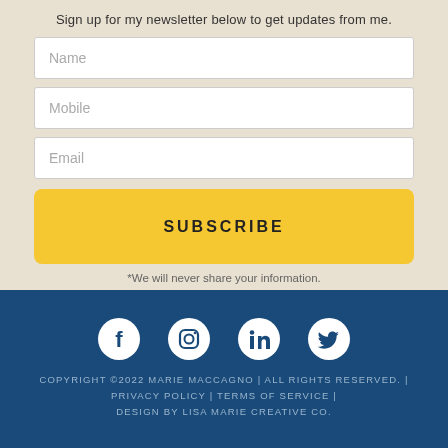Sign up for my newsletter below to get updates from me.
[Figure (screenshot): Newsletter signup form with Name, Mobile, and Email input fields, a yellow SUBSCRIBE button, and a privacy note.]
*We will never share your information.
[Figure (infographic): Social media icons row: Facebook, Instagram, LinkedIn, Twitter — white circles on dark blue background.]
COPYRIGHT ©2022 MARIE MACCAGNO | ALL RIGHTS RESERVED. | PRIVACY POLICY | TERMS OF SERVICE | DESIGN BY LISA MARIE CREATIVE CO.